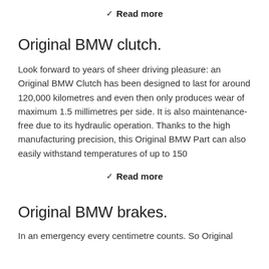Read more
Original BMW clutch.
Look forward to years of sheer driving pleasure: an Original BMW Clutch has been designed to last for around 120,000 kilometres and even then only produces wear of maximum 1.5 millimetres per side. It is also maintenance-free due to its hydraulic operation. Thanks to the high manufacturing precision, this Original BMW Part can also easily withstand temperatures of up to 150
Read more
Original BMW brakes.
In an emergency every centimetre counts. So Original